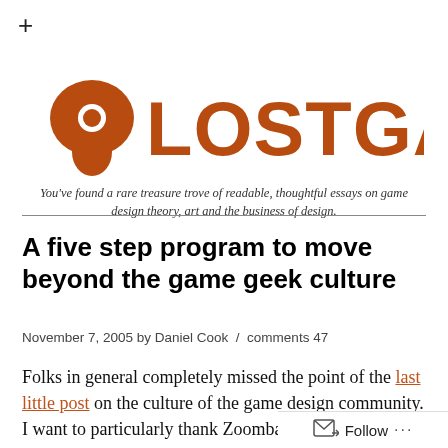[Figure (logo): Lostgarden blog logo with orange mushroom/person icon and text LOSTGARDEN in large orange letters]
You've found a rare treasure trove of readable, thoughtful essays on game design theory, art and the business of design.
A five step program to move beyond the game geek culture
November 7, 2005 by Daniel Cook  /  comments 47
Folks in general completely missed the point of the last little post on the culture of the game design community. I want to particularly thank Zoombapup and the other great commentators who pushed me to